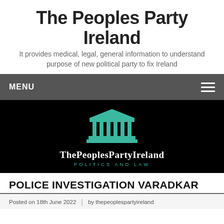The Peoples Party Ireland
It provides medical, legal, general information to understand purpose of new political party to fix Ireland
MENU
[Figure (logo): ThePeoplePartyIreland logo — teal Greek-temple/courthouse icon above text 'ThePeoplesPartyIreland' and subtitle 'POLITICS AND LAW' on black background]
POLICE INVESTIGATION VARADKAR
Posted on 18th June 2022  |  by thepeoplespartyireland